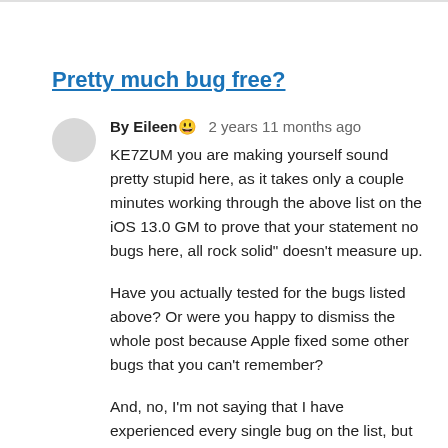Pretty much bug free?
By Eileen 😀   2 years 11 months ago
KE7ZUM you are making yourself sound pretty stupid here, as it takes only a couple minutes working through the above list on the iOS 13.0 GM to prove that your statement no bugs here, all rock solid" doesn't measure up.

Have you actually tested for the bugs listed above? Or were you happy to dismiss the whole post because Apple fixed some other bugs that you can't remember?

And, no, I'm not saying that I have experienced every single bug on the list, but I'm sure not